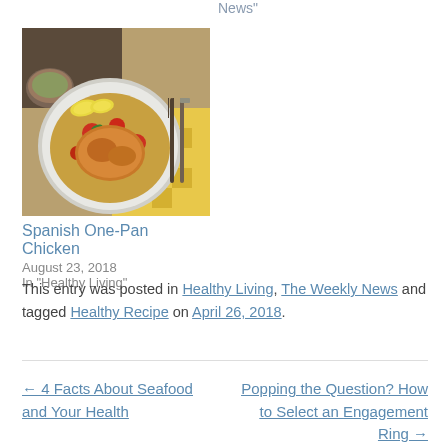News"
[Figure (photo): Photo of Spanish One-Pan Chicken dish — paella-like dish with chicken, rice, tomatoes, herbs, and lemon wedges on a plate with cutlery on a yellow checkered cloth]
Spanish One-Pan Chicken
August 23, 2018
In "Healthy Living"
This entry was posted in Healthy Living, The Weekly News and tagged Healthy Recipe on April 26, 2018.
← 4 Facts About Seafood and Your Health
Popping the Question? How to Select an Engagement Ring →